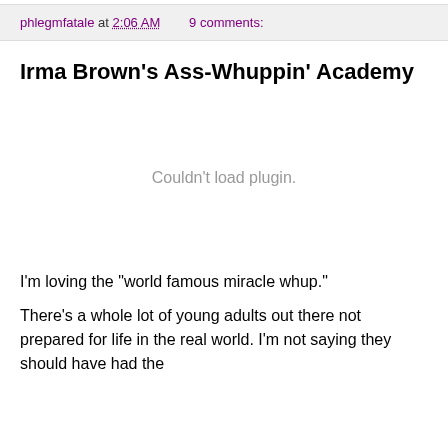phlegmfatale at 2:06 AM   9 comments:
Irma Brown's Ass-Whuppin' Academy
[Figure (other): Couldn't load plugin.]
I'm loving the "world famous miracle whup."
There's a whole lot of young adults out there not prepared for life in the real world. I'm not saying they should have had the